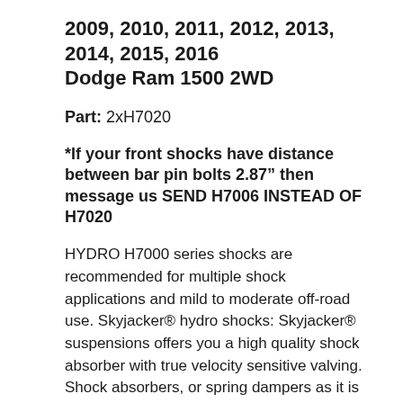2009, 2010, 2011, 2012, 2013, 2014, 2015, 2016 Dodge Ram 1500 2WD
Part: 2xH7020
*If your front shocks have distance between bar pin bolts 2.87" then message us SEND H7006 INSTEAD OF H7020
HYDRO H7000 series shocks are recommended for multiple shock applications and mild to moderate off-road use. Skyjacker® hydro shocks: Skyjacker® suspensions offers you a high quality shock absorber with true velocity sensitive valving. Shock absorbers, or spring dampers as it is called everywhere else except in the U.S, control the rate at which suspension springs compress and rebound. As the shock is pushed together, this is called bump or compression. As the shock expands, this is called rebound or extension